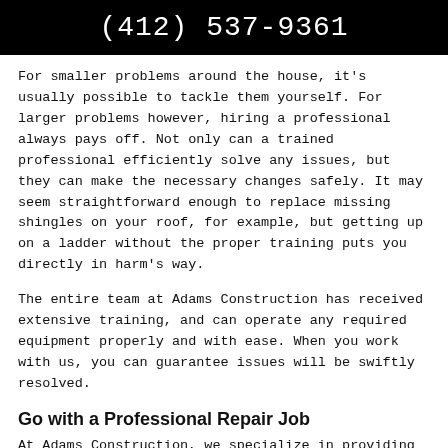(412) 537-9361
For smaller problems around the house, it’s usually possible to tackle them yourself. For larger problems however, hiring a professional always pays off. Not only can a trained professional efficiently solve any issues, but they can make the necessary changes safely. It may seem straightforward enough to replace missing shingles on your roof, for example, but getting up on a ladder without the proper training puts you directly in harm’s way.
The entire team at Adams Construction has received extensive training, and can operate any required equipment properly and with ease. When you work with us, you can guarantee issues will be swiftly resolved.
Go with a Professional Repair Job
At Adams Construction, we specialize in providing...